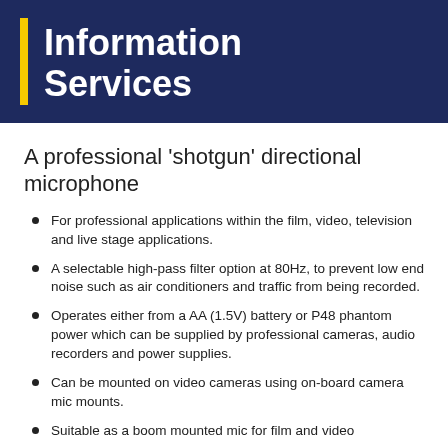Information Services
A professional 'shotgun' directional microphone
For professional applications within the film, video, television and live stage applications.
A selectable high-pass filter option at 80Hz, to prevent low end noise such as air conditioners and traffic from being recorded.
Operates either from a AA (1.5V) battery or P48 phantom power which can be supplied by professional cameras, audio recorders and power supplies.
Can be mounted on video cameras using on-board camera mic mounts.
Suitable as a boom mounted mic for film and video